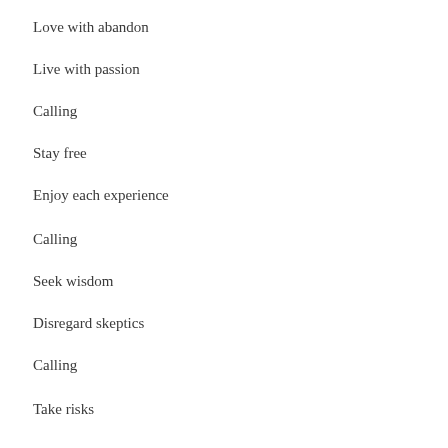Love with abandon
Live with passion
Calling
Stay free
Enjoy each experience
Calling
Seek wisdom
Disregard skeptics
Calling
Take risks